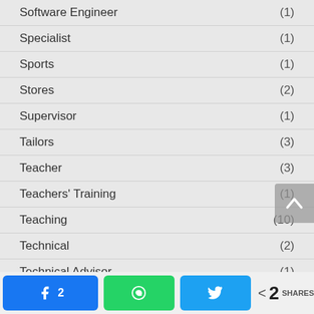Software Engineer (1)
Specialist (1)
Sports (1)
Stores (2)
Supervisor (1)
Tailors (3)
Teacher (3)
Teachers' Training (1)
Teaching (10)
Technical (2)
Technical Advisor (1)
Technician (9)
2 SHARES — Facebook: 2, WhatsApp, Twitter